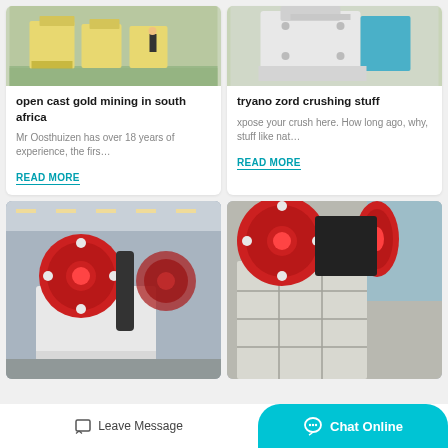[Figure (photo): Industrial yellow mining/milling machines in a green-floored factory with a worker standing nearby]
[Figure (photo): White and blue industrial crushing machine on a factory floor]
open cast gold mining in south africa
tryano zord crushing stuff
Mr Oosthuizen has over 18 years of experience, the firs…
xpose your crush here. How long ago, why, stuff like nat…
READ MORE
READ MORE
[Figure (photo): Large jaw crusher machine with red flywheel in an industrial factory hall]
[Figure (photo): Close-up of a jaw crusher machine with red flywheel and grid-like body structure]
Leave Message
Chat Online